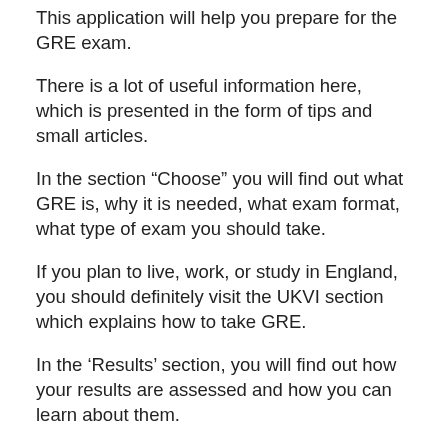This application will help you prepare for the GRE exam.
There is a lot of useful information here, which is presented in the form of tips and small articles.
In the section “Choose” you will find out what GRE is, why it is needed, what exam format, what type of exam you should take.
If you plan to live, work, or study in England, you should definitely visit the UKVI section which explains how to take GRE.
In the ‘Results’ section, you will find out how your results are assessed and how you can learn about them.